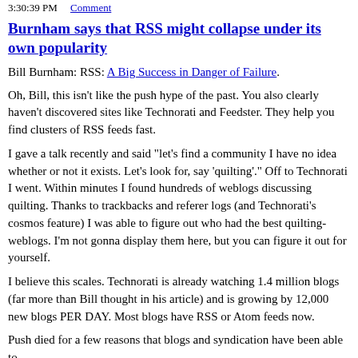3:30:39 PM    Comment
Burnham says that RSS might collapse under its own popularity
Bill Burnham: RSS: A Big Success in Danger of Failure.
Oh, Bill, this isn't like the push hype of the past. You also clearly haven't discovered sites like Technorati and Feedster. They help you find clusters of RSS feeds fast.
I gave a talk recently and said "let's find a community I have no idea whether or not it exists. Let's look for, say 'quilting'." Off to Technorati I went. Within minutes I found hundreds of weblogs discussing quilting. Thanks to trackbacks and referer logs (and Technorati's cosmos feature) I was able to figure out who had the best quilting-weblogs. I'm not gonna display them here, but you can figure it out for yourself.
I believe this scales. Technorati is already watching 1.4 million blogs (far more than Bill thought in his article) and is growing by 12,000 new blogs PER DAY. Most blogs have RSS or Atom feeds now.
Push died for a few reasons that blogs and syndication have been able to avoid. For one, it didn't have a simple one-stop service combining...